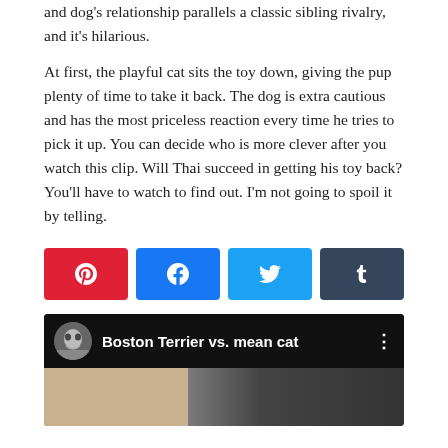and dog's relationship parallels a classic sibling rivalry, and it's hilarious.
At first, the playful cat sits the toy down, giving the pup plenty of time to take it back. The dog is extra cautious and has the most priceless reaction every time he tries to pick it up. You can decide who is more clever after you watch this clip. Will Thai succeed in getting his toy back? You'll have to watch to find out. I'm not going to spoil it by telling.
[Figure (infographic): Social share buttons: Pinterest (red), Facebook (blue), Twitter (light blue), Tumblr (dark blue-grey)]
[Figure (screenshot): YouTube video thumbnail showing 'Boston Terrier vs. mean cat' with a dog avatar icon and partial video preview of indoor scene]